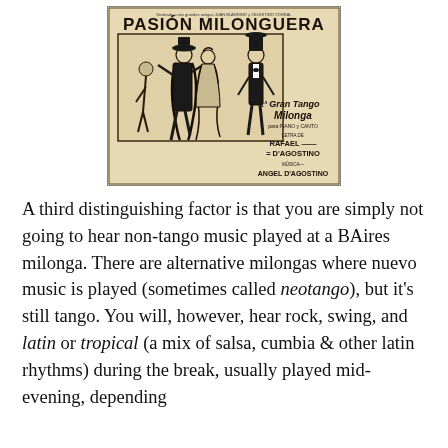[Figure (illustration): Vintage sheet music cover for 'Pasión Milonguera' — a Gran Tango Milonga for piano and voice. Features art deco illustrations of tango dancers in formal dress: a couple dancing in the center, a man in top hat to the right, and a woman in the background left. Credits: Letra de Rafael D'Agostino, Música de Angel D'Agostino.]
A third distinguishing factor is that you are simply not going to hear non-tango music played at a BAires milonga. There are alternative milongas where nuevo music is played (sometimes called neotango), but it's still tango. You will, however, hear rock, swing, and latin or tropical (a mix of salsa, cumbia & other latin rhythms) during the break, usually played mid-evening, depending